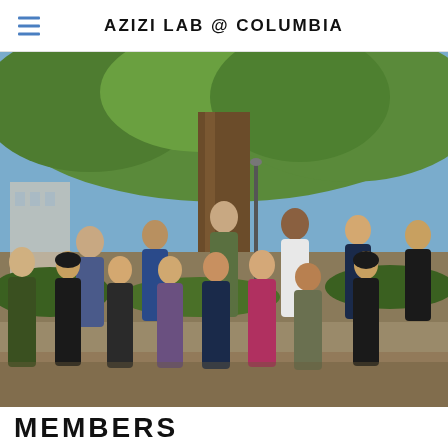AZIZI LAB @ COLUMBIA
[Figure (photo): Group photo of approximately 15 lab members standing outdoors on a university campus (Columbia University), with trees and campus buildings in the background. The group includes men and women of diverse backgrounds. One woman in the center wears a magenta blazer.]
MEMBERS